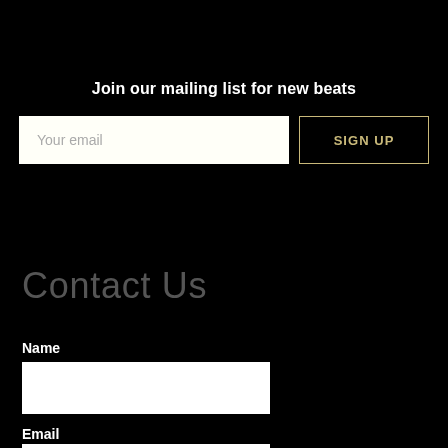Join our mailing list for new beats
Your email
SIGN UP
Contact Us
Name
Email